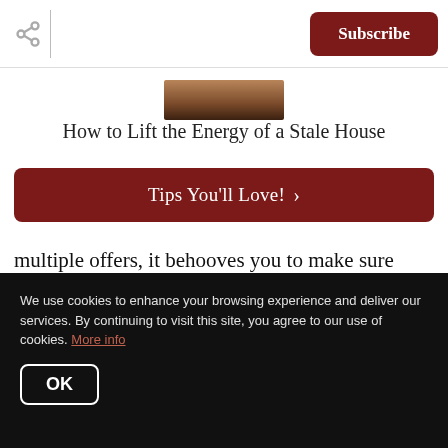Subscribe
[Figure (photo): Partial image of a person at the top center of the page]
How to Lift the Energy of a Stale House
Tips You'll Love! ›
multiple offers, it behooves you to make sure your home is available to be shown today. Every day that it is on the market. Inconvenient? Yes.
We use cookies to enhance your browsing experience and deliver our services. By continuing to visit this site, you agree to our use of cookies. More info
OK